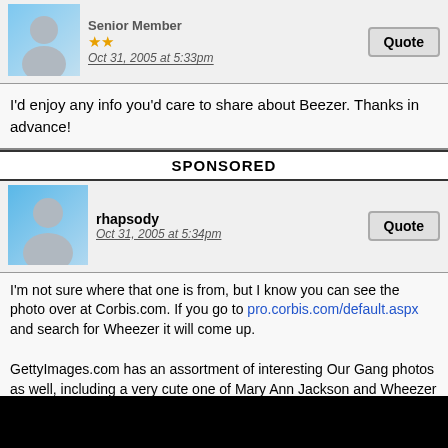[Figure (photo): User avatar - gray silhouette person on blue-gray background, top post]
Senior Member
★★
Oct 31, 2005 at 5:33pm
Quote
I'd enjoy any info you'd care to share about Beezer. Thanks in advance!
SPONSORED
[Figure (photo): User avatar - gray silhouette person on blue background, rhapsody post]
rhapsody
Oct 31, 2005 at 5:34pm
Quote
I'm not sure where that one is from, but I know you can see the photo over at Corbis.com. If you go to pro.corbis.com/default.aspx and search for Wheezer it will come up.

GettyImages.com has an assortment of interesting Our Gang photos as well, including a very cute one of Mary Ann Jackson and Wheezer kissing under an umbrella on a beach.
[Figure (photo): User avatar - black and white photo of person, maliejandra post]
maliejandra
Full Member
★★★
Oct 31, 2005 at 11:00pm
Quote